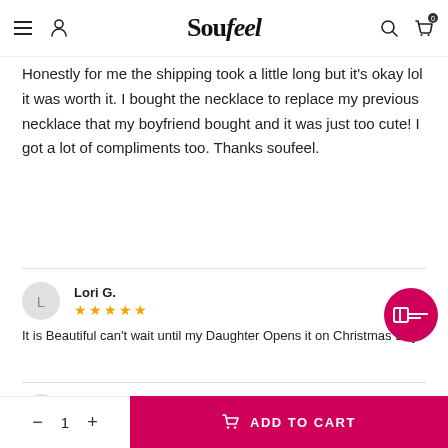Soufeel
Honestly for me the shipping took a little long but it's okay lol it was worth it. I bought the necklace to replace my previous necklace that my boyfriend bought and it was just too cute! I got a lot of compliments too. Thanks soufeel.
Lori G.
★★★★★
It is Beautiful can't wait until my Daughter Opens it on Christmas Day
ashley m.
★★★★★